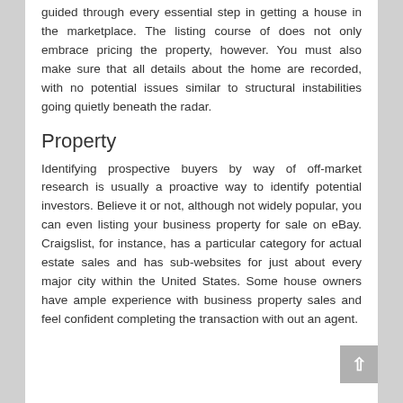guided through every essential step in getting a house in the marketplace. The listing course of does not only embrace pricing the property, however. You must also make sure that all details about the home are recorded, with no potential issues similar to structural instabilities going quietly beneath the radar.
Property
Identifying prospective buyers by way of off-market research is usually a proactive way to identify potential investors. Believe it or not, although not widely popular, you can even listing your business property for sale on eBay. Craigslist, for instance, has a particular category for actual estate sales and has sub-websites for just about every major city within the United States. Some house owners have ample experience with business property sales and feel confident completing the transaction with out an agent.